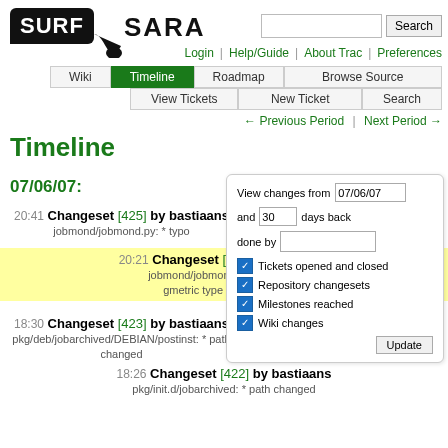[Figure (logo): SurfSARA logo with black rounded rectangle and SARA text]
Search
Login | Help/Guide | About Trac | Preferences
Wiki | Timeline | Roadmap | Browse Source | View Tickets | New Ticket | Search
← Previous Period | Next Period →
Timeline
07/06/07:
20:41 Changeset [425] by bastiaans
jobmond/jobmond.py: * typo
20:21 Changeset [424] by bastiaans
jobmond/jobmond.py: * respect gmetric type when native
18:30 Changeset [423] by bastiaans
pkg/deb/jobarchived/DEBIAN/postinst: * path changed
18:26 Changeset [422] by bastiaans
pkg/init.d/jobarchived: * path changed
View changes from 07/06/07 and 30 days back done by
☑ Tickets opened and closed
☑ Repository changesets
☑ Milestones reached
☑ Wiki changes
Update